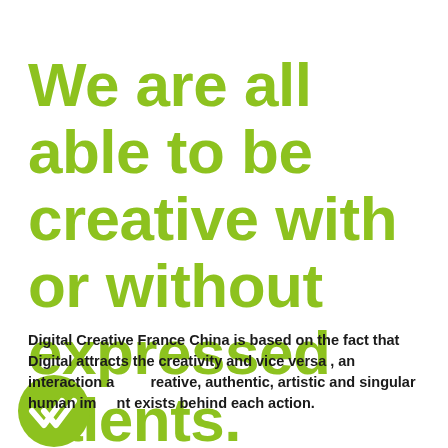We are all able to be creative with or without expressed talents.
[Figure (illustration): Green circle with a double checkmark (tick) icon in white]
Digital Creative France China is based on the fact that Digital attracts the creativity and vice versa , an interaction a creative, authentic, artistic and singular human imprint exists behind each action.